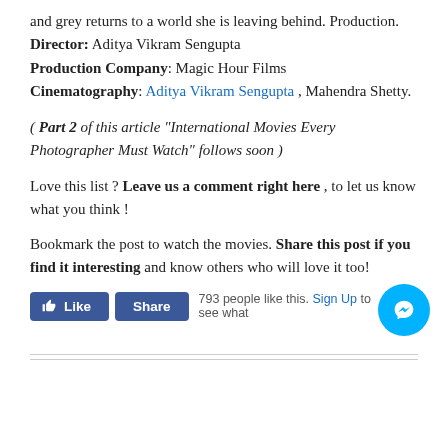and grey returns to a world she is leaving behind. Production.
Director: Aditya Vikram Sengupta
Production Company: Magic Hour Films
Cinematography: Aditya Vikram Sengupta , Mahendra Shetty.
( Part 2 of this article “International Movies Every Photographer Must Watch” follows soon )
Love this list ? Leave us a comment right here , to let us know what you think !
Bookmark the post to watch the movies. Share this post if you find it interesting and know others who will love it too!
[Figure (screenshot): Facebook Like and Share buttons with '793 people like this. Sign Up to see what...' text and a Messenger chat bubble icon in the bottom right.]